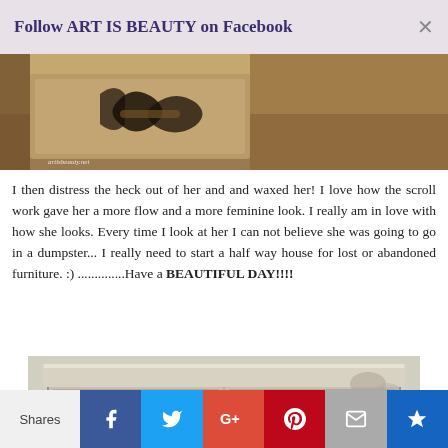Follow ART IS BEAUTY on Facebook
[Figure (photo): Close-up photo of a painted dresser drawer with black scroll/floral stencil design on a tan/beige painted surface. Watermark reads artisbeauty.net]
I then distress the heck out of her and and waxed her! I love how the scroll work gave her a more flow and a more feminine look. I really am in love with how she looks. Every time I look at her I can not believe she was going to go in a dumpster... I really need to start a half way house for lost or abandoned furniture. :) ..............Have a BEAUTIFUL DAY!!!!
[Figure (photo): Photo of a refinished dresser/cabinet painted in light gray/beige chalk paint, sitting on grass outdoors. Has decorative black scroll stencil on lower drawer fronts.]
Shares | Facebook | Twitter | Google+ | Pinterest | Email | Crown